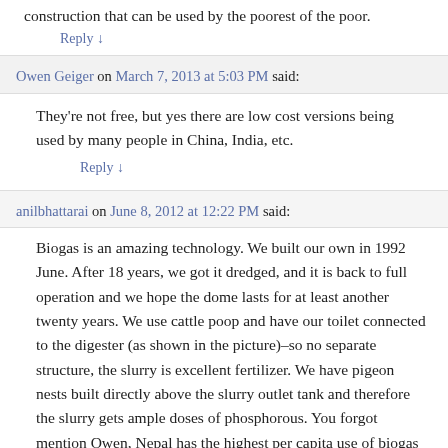construction that can be used by the poorest of the poor.
Reply ↓
Owen Geiger on March 7, 2013 at 5:03 PM said:
They're not free, but yes there are low cost versions being used by many people in China, India, etc.
Reply ↓
anilbhattarai on June 8, 2012 at 12:22 PM said:
Biogas is an amazing technology. We built our own in 1992 June. After 18 years, we got it dredged, and it is back to full operation and we hope the dome lasts for at least another twenty years. We use cattle poop and have our toilet connected to the digester (as shown in the picture)–so no separate structure, the slurry is excellent fertilizer. We have pigeon nests built directly above the slurry outlet tank and therefore the slurry gets ample doses of phosphorous. You forgot mention Owen, Nepal has the highest per capita use of biogas digester in the world. It is already in half a million households and is expected to reach 1 million in a decade–even with all the lousy governments in place. As over 80 percent of Nepali households are still agricultural smallholder with at least one